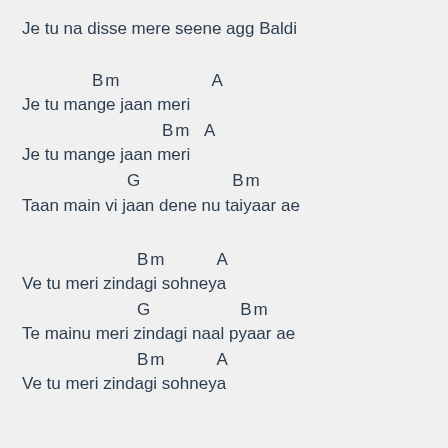Je tu na disse mere seene agg Baldi
Bm                    A
Je tu mange jaan meri
Bm  A
Je tu mange jaan meri
G                  Bm
Taan main vi jaan dene nu taiyaar ae
Bm        A
Ve tu meri zindagi sohneya
G                   Bm
Te mainu meri zindagi naal pyaar ae
Bm        A
Ve tu meri zindagi sohneya